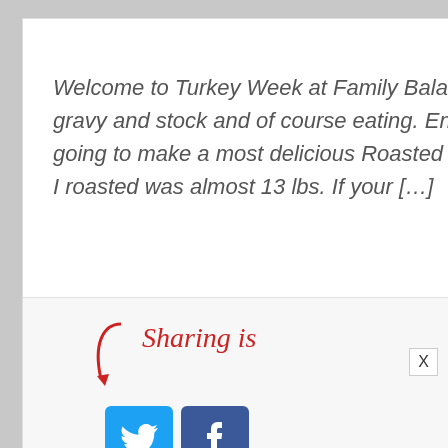Welcome to Turkey Week at Family Balance Sheet. We will be thawing, roasting, making gravy and stock and of course eating. Enjoy! We have already thawed the turkey, now we are going to make a most delicious Roasted Turkey with Fresh Herbs and Lemon. The turkey that I roasted was almost 13 lbs. If your […]
[Figure (other): READ MORE >> yellow button (partially visible at bottom of card)]
[Figure (infographic): Sharing is caring graphic with red arrow and cursive text 'Sharing is' with Twitter and Facebook social share icons]
Filed Under: Recipes - M... Holidays, Saving Money - Groceries